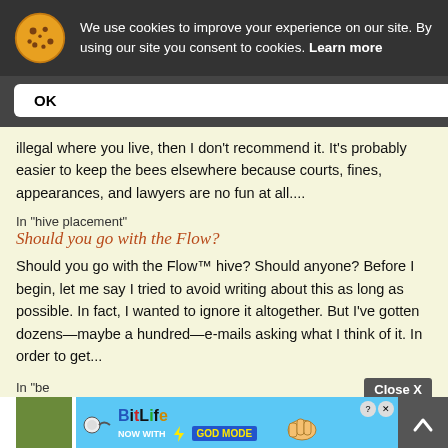[Figure (screenshot): Cookie consent banner with cookie emoji icon, text about cookie usage, and OK button]
illegal where you live, then I don't recommend it. It's probably easier to keep the bees elsewhere because courts, fines, appearances, and lawyers are no fun at all....
In "hive placement"
Should you go with the Flow?
Should you go with the Flow™ hive? Should anyone? Before I begin, let me say I tried to avoid writing about this as long as possible. In fact, I wanted to ignore it altogether. But I've gotten dozens—maybe a hundred—e-mails asking what I think of it. In order to get...
In "be
[Figure (screenshot): BitLife advertisement banner: NOW WITH GOD MODE, with lightning bolt graphic and pointing hand]
Close X